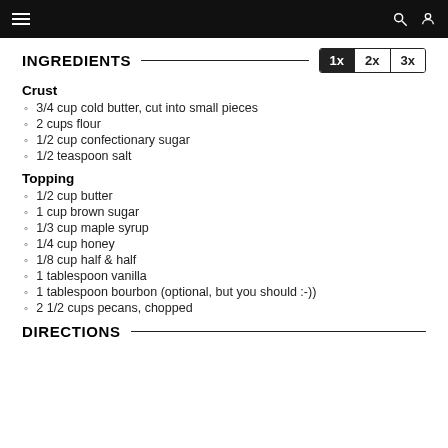INGREDIENTS
Crust
3/4 cup cold butter, cut into small pieces
2 cups flour
1/2 cup confectionary sugar
1/2 teaspoon salt
Topping
1/2 cup butter
1 cup brown sugar
1/3 cup maple syrup
1/4 cup honey
1/8 cup half & half
1 tablespoon vanilla
1 tablespoon bourbon (optional, but you should :-))
2 1/2 cups pecans, chopped
DIRECTIONS